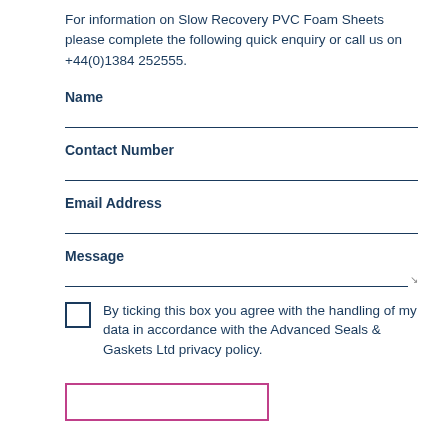For information on Slow Recovery PVC Foam Sheets please complete the following quick enquiry or call us on +44(0)1384 252555.
Name
Contact Number
Email Address
Message
By ticking this box you agree with the handling of my data in accordance with the Advanced Seals & Gaskets Ltd privacy policy.